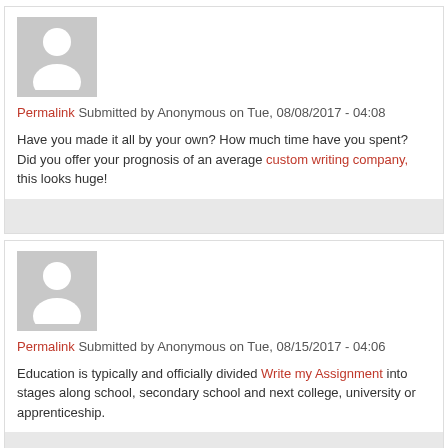Permalink Submitted by Anonymous on Tue, 08/08/2017 - 04:08
Have you made it all by your own? How much time have you spent? Did you offer your prognosis of an average custom writing company, this looks huge!
Permalink Submitted by Anonymous on Tue, 08/15/2017 - 04:06
Education is typically and officially divided Write my Assignment into stages along school, secondary school and next college, university or apprenticeship.